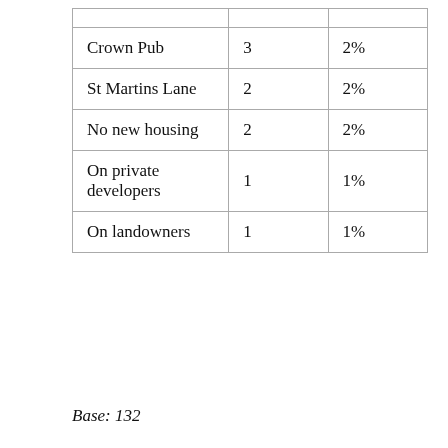| Crown Pub | 3 | 2% |
| St Martins Lane | 2 | 2% |
| No new housing | 2 | 2% |
| On private developers | 1 | 1% |
| On landowners | 1 | 1% |
Base: 132